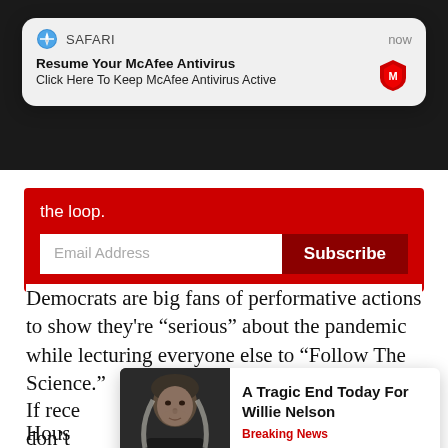[Figure (screenshot): Safari browser push notification popup: 'Resume Your McAfee Antivirus / Click Here To Keep McAfee Antivirus Active' with McAfee logo, timestamped 'now']
[Figure (screenshot): Red subscription banner with Email Address input field and Subscribe button]
Democrats are big fans of performative actions to show they're “serious” about the pandemic while lecturing everyone else to “Follow The Science.”
If rece... don't... mask...
[Figure (screenshot): Ad popup with photo of Willie Nelson and text 'A Tragic End Today For Willie Nelson' and 'Breaking News']
Hous...